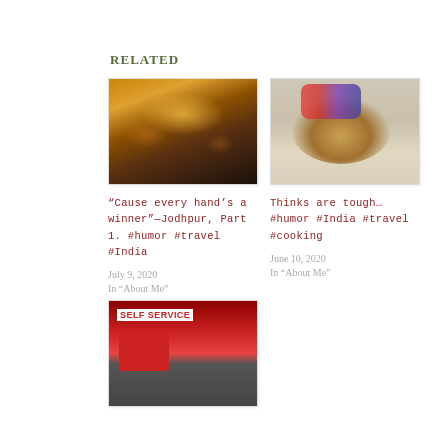Related
[Figure (photo): Night market scene in Jodhpur with colorful lights and stalls]
[Figure (photo): A decorated camel sitting in the desert sand]
“Cause every hand’s a winner”—Jodhpur, Part 1. #humor #travel #India
July 9, 2020
In “About Me”
Thinks are tough… #humor #India #travel #cooking
June 10, 2020
In “About Me”
[Figure (photo): Self-service food stall or canteen with red signage]